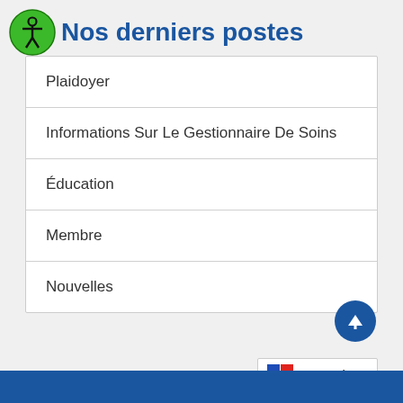Nos derniers postes
Plaidoyer
Informations Sur Le Gestionnaire De Soins
Éducation
Membre
Nouvelles
Français